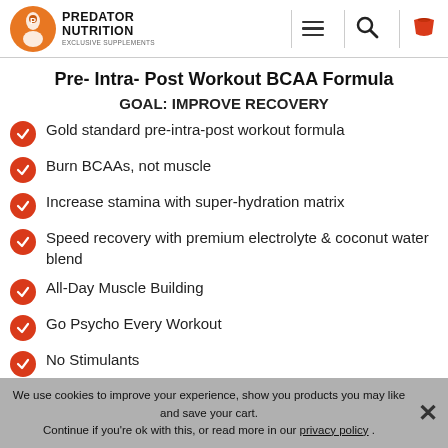Predator Nutrition - Exclusive Supplements [navigation bar with logo, hamburger menu, search, and cart icons]
Pre- Intra- Post Workout BCAA Formula
GOAL: IMPROVE RECOVERY
Gold standard pre-intra-post workout formula
Burn BCAAs, not muscle
Increase stamina with super-hydration matrix
Speed recovery with premium electrolyte & coconut water blend
All-Day Muscle Building
Go Psycho Every Workout
No Stimulants
We use cookies to improve your experience, show you products you may like and save your cart. Continue if you're ok with this, or read more in our privacy policy .